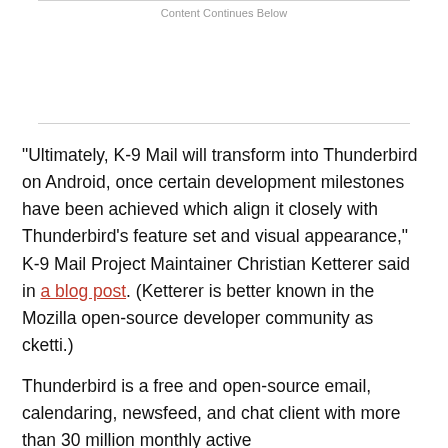Content Continues Below
“Ultimately, K-9 Mail will transform into Thunderbird on Android, once certain development milestones have been achieved which align it closely with Thunderbird’s feature set and visual appearance,” K-9 Mail Project Maintainer Christian Ketterer said in a blog post. (Ketterer is better known in the Mozilla open-source developer community as cketti.)
Thunderbird is a free and open-source email, calendaring, newsfeed, and chat client with more than 30 million monthly active